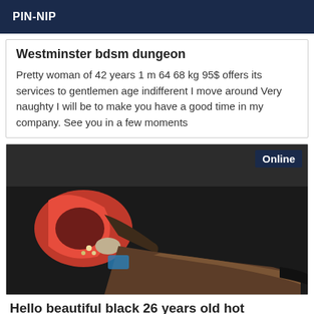PIN-NIP
Westminster bdsm dungeon
Pretty woman of 42 years 1 m 64 68 kg 95$ offers its services to gentlemen age indifferent I move around Very naughty I will be to make you have a good time in my company. See you in a few moments
[Figure (photo): Photo of a woman lying on a dark surface wearing a red outfit, with Online badge in top right corner]
Hello beautiful black 26 years old hot